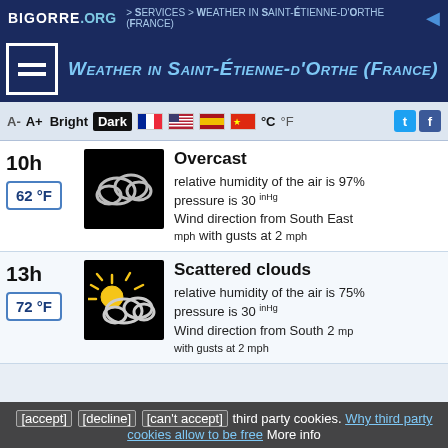BIGORRE .ORG > Services > Weather in Saint-Étienne-d'Orthe (France)
Weather in Saint-Étienne-d'Orthe (France)
A- A+ Bright Dark °C °F
10h
62 °F
Overcast
relative humidity of the air is 97%
pressure is 30 inHg
Wind direction from South East mph with gusts at 2 mph
[Figure (illustration): Overcast cloud icon on black background]
13h
72 °F
Scattered clouds
relative humidity of the air is 75%
pressure is 30 inHg
Wind direction from South 2 mph with gusts at 2 mph
[Figure (illustration): Partly cloudy / scattered clouds icon with sun on black background]
[accept] [decline] [can't accept] third party cookies. Why third party cookies allow to be free More info